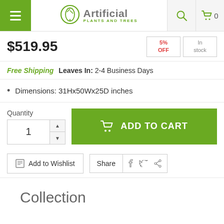Artificial Plants and Trees
$519.95
Free Shipping  Leaves In: 2-4 Business Days
Dimensions: 31Hx50Wx25D inches
Quantity 1  ADD TO CART
Add to Wishlist  Share
Collection